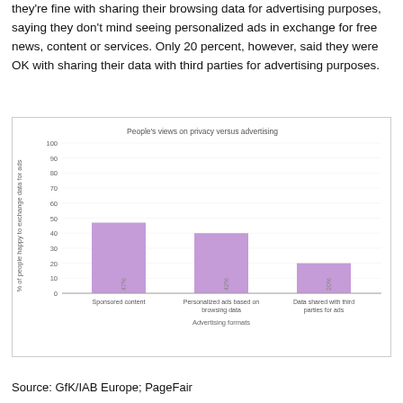they're fine with sharing their browsing data for advertising purposes, saying they don't mind seeing personalized ads in exchange for free news, content or services. Only 20 percent, however, said they were OK with sharing their data with third parties for advertising purposes.
[Figure (bar-chart): People's views on privacy versus advertising]
Source: GfK/IAB Europe; PageFair